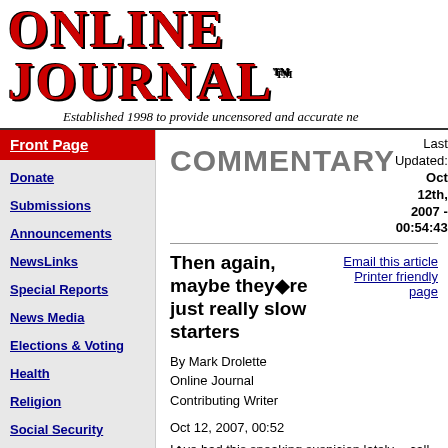Online Journal™
Established 1998 to provide uncensored and accurate ne
Front Page
Donate
Submissions
Announcements
NewsLinks
Special Reports
News Media
Elections & Voting
Health
Religion
Social Security
Analysis
COMMENTARY
Last Updated: Oct 12th, 2007 - 00:54:43
Email this article
Printer friendly page
Then again, maybe they◆re just really slow starters
By Mark Drolette
Online Journal
Contributing Writer
Oct 12, 2007, 00:52
I◆ve had this sneaking suspicion lately -- call it a hunch -- that the Democrats perhaps haven◆t been all that effective in